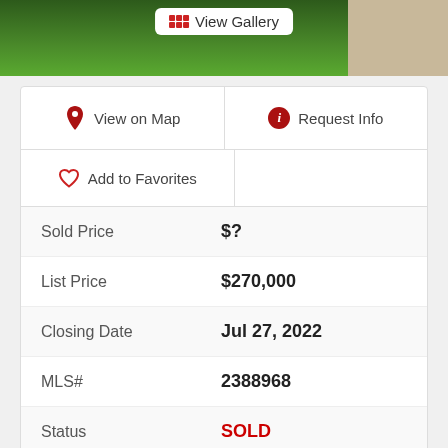[Figure (photo): Top photo strip showing green lawn/grass on the left and a light paved area on the right, with a 'View Gallery' button overlay]
| View on Map | Request Info |
| Add to Favorites |  |
| Sold Price | $? |
| List Price | $270,000 |
| Closing Date | Jul 27, 2022 |
| MLS# | 2388968 |
| Status | SOLD |
| Type | Single Family Residential |